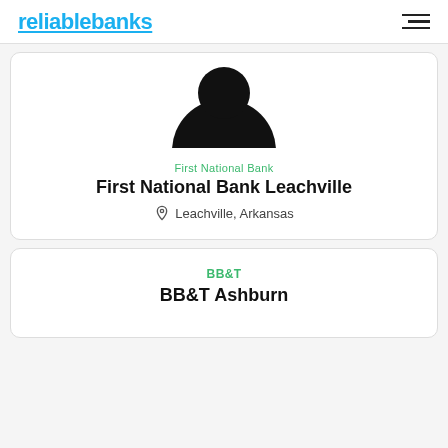reliablebanks
[Figure (illustration): Black silhouette of a person's head/avatar icon, circular shape cropped at bottom]
First National Bank
First National Bank Leachville
Leachville, Arkansas
BB&T
BB&T Ashburn